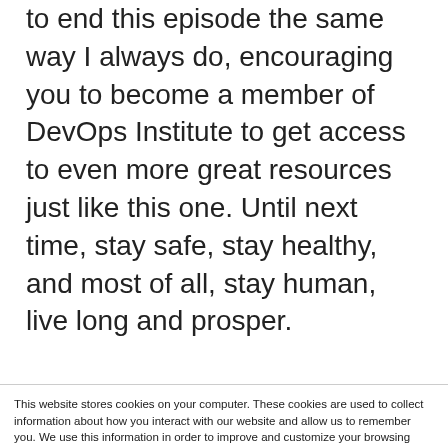to end this episode the same way I always do, encouraging you to become a member of DevOps Institute to get access to even more great resources just like this one. Until next time, stay safe, stay healthy, and most of all, stay human, live long and prosper.
This website stores cookies on your computer. These cookies are used to collect information about how you interact with our website and allow us to remember you. We use this information in order to improve and customize your browsing experience and for analytics and metrics about our visitors both on this website and other media. To find out more about the cookies we use, see our Privacy Policy.
We won't track your information when you visit our site. But in order to comply with your preferences, we'll have to use just one tiny cookie so that you're not asked to make this choice again.
Accept | Decline